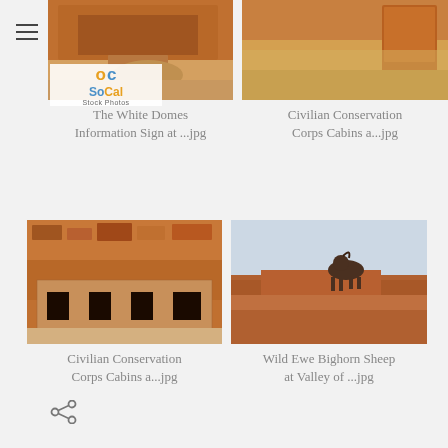[Figure (photo): Top-left photo: The White Domes Information Sign at a desert park, red rocks and sandy terrain]
[Figure (logo): SoCal Stock Photos logo with OC letters in orange and blue]
The White Domes Information Sign at ...jpg
[Figure (photo): Top-right photo: Civilian Conservation Corps Cabins area with informational sign, dry golden grass and red rock landscape]
Civilian Conservation Corps Cabins a...jpg
[Figure (photo): Bottom-left photo: Civilian Conservation Corps Cabins stone building in desert with red rock cliff backdrop]
Civilian Conservation Corps Cabins a...jpg
[Figure (photo): Bottom-right photo: Wild Ewe Bighorn Sheep standing on red rock ledge against sky at Valley of Fire]
Wild Ewe Bighorn Sheep at Valley of ...jpg